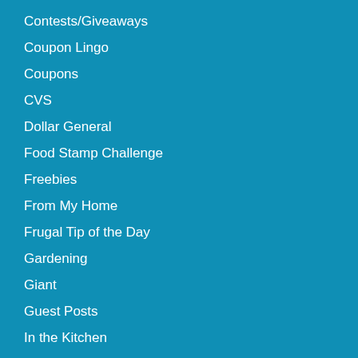Contests/Giveaways
Coupon Lingo
Coupons
CVS
Dollar General
Food Stamp Challenge
Freebies
From My Home
Frugal Tip of the Day
Gardening
Giant
Guest Posts
In the Kitchen
Lucy the Cat
Managing Money
Miscellaneous
News